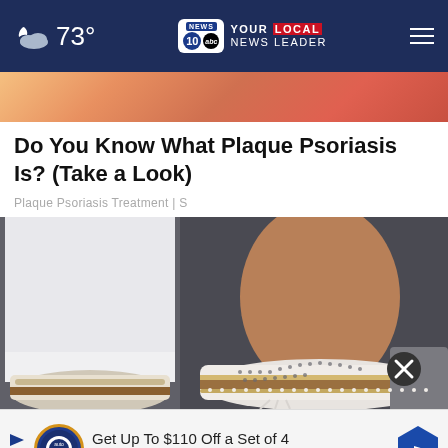73° NEWS10 YOUR LOCAL NEWS LEADER
[Figure (photo): Top banner image showing blurred colorful background (orange, pink, red tones)]
Do You Know What Plaque Psoriasis Is? (Take a Look)
Plaque Psoriasis Treatment | S
[Figure (photo): Close-up photo of a person wearing white slip-on shoes with perforated upper and brown/tan striped sole, wearing white cropped jeans, walking on dark pavement]
Get Up To $110 Off a Set of 4 Select Firestone Tires